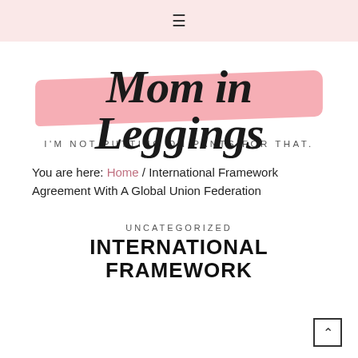≡
[Figure (logo): Mom in Leggings blog logo with pink brush stroke background and cursive script text. Tagline reads: I'M NOT PUTTING ON PANTS FOR THAT.]
You are here: Home / International Framework Agreement With A Global Union Federation
UNCATEGORIZED
INTERNATIONAL FRAMEWORK